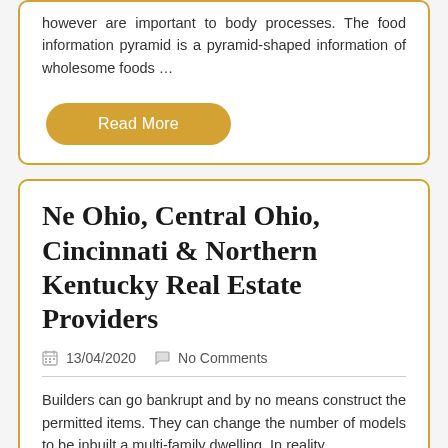however are important to body processes. The food information pyramid is a pyramid-shaped information of wholesome foods …
Read More
Ne Ohio, Central Ohio, Cincinnati & Northern Kentucky Real Estate Providers
13/04/2020   No Comments
Builders can go bankrupt and by no means construct the permitted items. They can change the number of models to be inbuilt a multi-family dwelling. In reality,